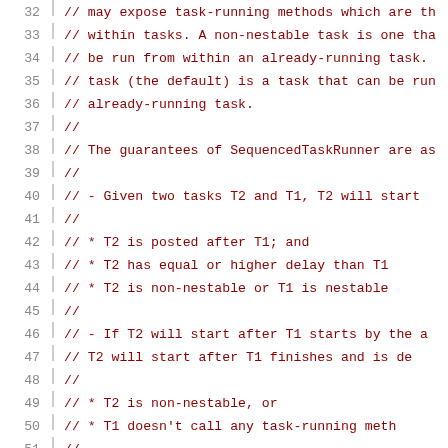[Figure (screenshot): Source code listing showing lines 32-52 of a C++ header file with comments about SequencedTaskRunner guarantees. Code is shown in dark red monospace font on white background with gray line numbers on the left separated by a vertical line.]